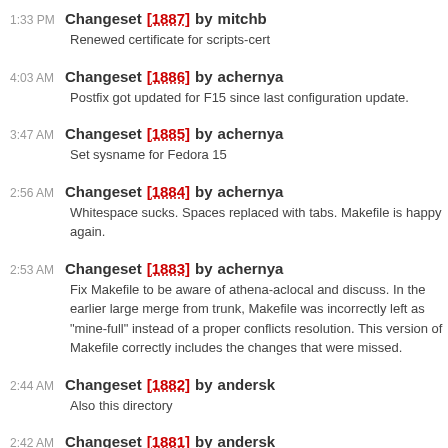1:33 PM Changeset [1887] by mitchb
Renewed certificate for scripts-cert
4:03 AM Changeset [1886] by achernya
Postfix got updated for F15 since last configuration update.
3:47 AM Changeset [1885] by achernya
Set sysname for Fedora 15
2:56 AM Changeset [1884] by achernya
Whitespace sucks. Spaces replaced with tabs. Makefile is happy again.
2:53 AM Changeset [1883] by achernya
Fix Makefile to be aware of athena-aclocal and discuss. In the earlier large merge from trunk, Makefile was incorrectly left as "mine-full" instead of a proper conflicts resolution. This version of Makefile correctly includes the changes that were missed.
2:44 AM Changeset [1882] by andersk
Also this directory
2:42 AM Changeset [1881] by andersk
Remove this 00scripts-home.pth too
2:36 AM Changeset [1880] by andersk
Remove 00scripts-home.pth for Fedora 15 The path for user-installed Python modules needs to change anyway from ~/lib/python2.6/site-packages because the Python version is changing, and nobody will be using ~/lib/python2.7/site-packages yet, so let's take this opportunity to switch to